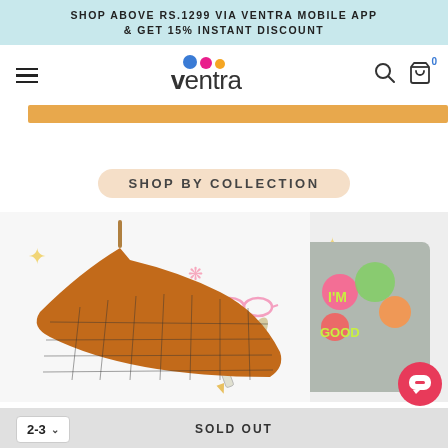SHOP ABOVE RS.1299 VIA VENTRA MOBILE APP & GET 15% INSTANT DISCOUNT
[Figure (logo): Ventra logo with three colored dots (blue, pink, orange) above stylized text 'ventra']
[Figure (illustration): Orange banner bar below navigation]
SHOP BY COLLECTION
[Figure (photo): Brown/orange grid-pattern long-sleeve sweater on a hanger against white background with decorative elements]
[Figure (photo): Partial view of a gray graphic t-shirt with colorful print on the right side]
2-3 ˅
SOLD OUT